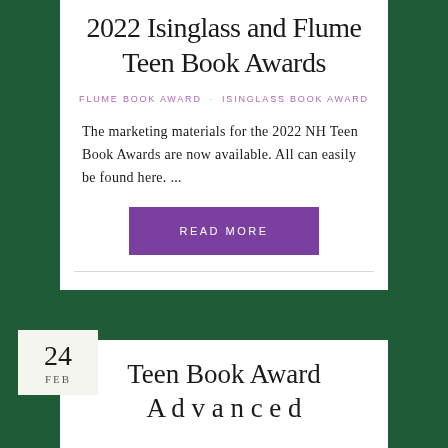2022 Isinglass and Flume Teen Book Awards
FLUME BOOK AWARD · ISINGLASS BOOK AWARD
The marketing materials for the 2022 NH Teen Book Awards are now available. All can easily be found here. ...
READ MORE
Teen Book Award Acknowledged